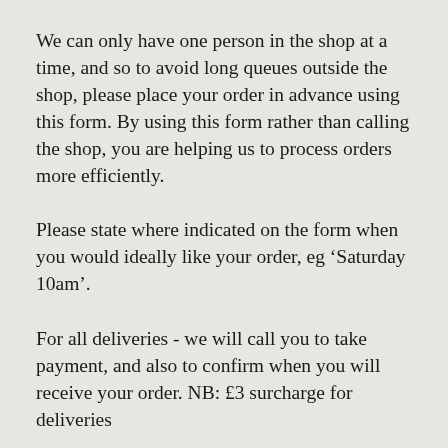We can only have one person in the shop at a time, and so to avoid long queues outside the shop, please place your order in advance using this form. By using this form rather than calling the shop, you are helping us to process orders more efficiently.
Please state where indicated on the form when you would ideally like your order, eg ‘Saturday 10am’.
For all deliveries - we will call you to take payment, and also to confirm when you will receive your order. NB: £3 surcharge for deliveries
For collections - we will contact you to let you know when your order will be ready for collection